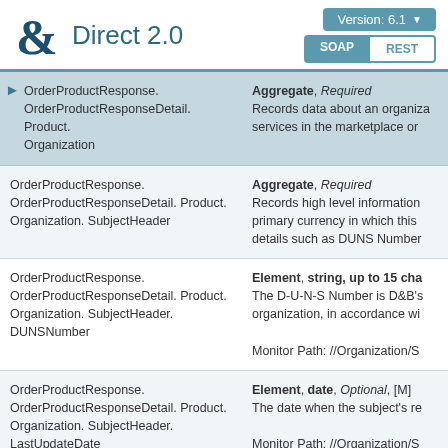D&B Direct 2.0 — Version: 6.1 — SOAP | REST
| Path | Description |
| --- | --- |
| OrderProductResponse. OrderProductResponseDetail. Product. Organization | Aggregate, Required
Records data about an organization's products, services in the marketplace or... |
| OrderProductResponse. OrderProductResponseDetail. Product. Organization. SubjectHeader | Aggregate, Required
Records high level information primary currency in which this details such as DUNS Number... |
| OrderProductResponse. OrderProductResponseDetail. Product. Organization. SubjectHeader. DUNSNumber | Element, string, up to 15 cha...
The D-U-N-S Number is D&B's organization, in accordance wi...

Monitor Path: //Organization/S... |
| OrderProductResponse. OrderProductResponseDetail. Product. Organization. SubjectHeader. LastUpdateDate | Element, date, Optional, [M]
The date when the subject's re...

Monitor Path: //Organization/S... |